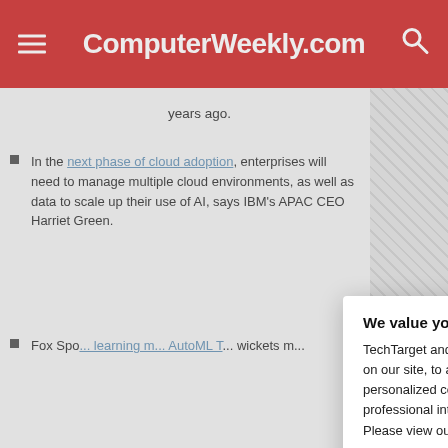ComputerWeekly.com
years ago.
In the next phase of cloud adoption, enterprises will need to manage multiple cloud environments, as well as data to scale up their use of AI, says IBM's APAC CEO Harriet Green.
Fox Spo... [learning m... AutoML T... wickets m...]
Read mo... services
Google Anthos
We value your privacy.
TechTarget and its partners employ cookies to improve your experience on our site, to analyze traffic and performance, and to serve personalized content and advertising that are relevant to your professional interests. You can manage your settings at any time. Please view our Privacy Policy for more information